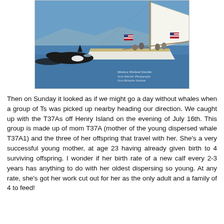[Figure (photo): Photo of a sailboat on blue water with an orca whale visible surfacing in the foreground. People are standing on the sailboat deck. An American flag is visible on the boat. The sail is white. Watermark reads 'Monica Wieland Shields, Orca Watcher Photography, Orca Behavior Institute'.]
Then on Sunday it looked as if we might go a day without whales when a group of Ts was picked up nearby heading our direction. We caught up with the T37As off Henry Island on the evening of July 16th. This group is made up of mom T37A (mother of the young dispersed whale T37A1) and the three of her offspring that travel with her. She's a very successful young mother, at age 23 having already given birth to 4 surviving offspring. I wonder if her birth rate of a new calf every 2-3 years has anything to do with her oldest dispersing so young. At any rate, she's got her work cut out for her as the only adult and a family of 4 to feed!